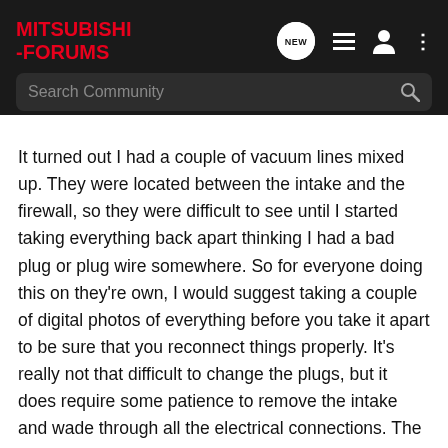MITSUBISHI-FORUMS
It turned out I had a couple of vacuum lines mixed up. They were located between the intake and the firewall, so they were difficult to see until I started taking everything back apart thinking I had a bad plug or plug wire somewhere. So for everyone doing this on they're own, I would suggest taking a couple of digital photos of everything before you take it apart to be sure that you reconnect things properly. It's really not that difficult to change the plugs, but it does require some patience to remove the intake and wade through all the electrical connections. The electrical connections are kinda hard to mess up because each plug seems to be shaped to only fit one connector. The vacuum lines are where you really have to be careful because they're not entirely obvious. I had to break out the diagram in the shop manual to confirm the routing. Anyway,